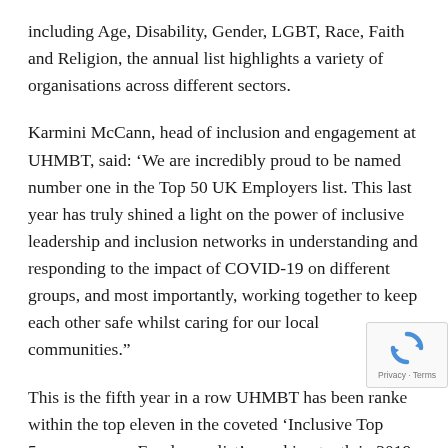including Age, Disability, Gender, LGBT, Race, Faith and Religion, the annual list highlights a variety of organisations across different sectors.
Karmini McCann, head of inclusion and engagement at UHMBT, said: ‘We are incredibly proud to be named number one in the Top 50 UK Employers list. This last year has truly shined a light on the power of inclusive leadership and inclusion networks in understanding and responding to the impact of COVID-19 on different groups, and most importantly, working together to keep each other safe whilst caring for our local communities.”
This is the fifth year in a row UHMBT has been ranked within the top eleven in the coveted ‘Inclusive Top 50 Employers list’ – ranking tenth in 2019 (as well as being
[Figure (other): reCAPTCHA badge with rotating arrows icon and Privacy - Terms text]